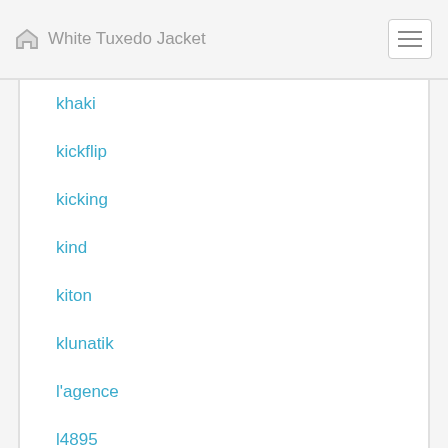White Tuxedo Jacket
khaki
kickflip
kicking
kind
kiton
klunatik
l'agence
l4895
ladies
lady